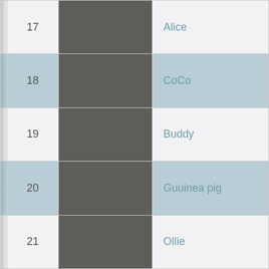| # | Image | Name |
| --- | --- | --- |
| 17 |  | Alice |
| 18 |  | CoCo |
| 19 |  | Buddy |
| 20 |  | Guuinea pig |
| 21 |  | Ollie |